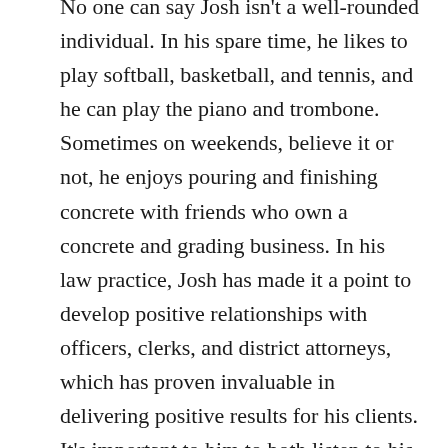No one can say Josh isn't a well-rounded individual. In his spare time, he likes to play softball, basketball, and tennis, and he can play the piano and trombone. Sometimes on weekends, believe it or not, he enjoys pouring and finishing concrete with friends who own a concrete and grading business. In his law practice, Josh has made it a point to develop positive relationships with officers, clerks, and district attorneys, which has proven invaluable in delivering positive results for his clients. It's important to him to both listen to his clients and fight for them. Law enforcement officers have important responsibilities to keep our communities safe and uphold the law, but one of the responsibilities of attorneys is to make sure officers do their job correctly. Josh